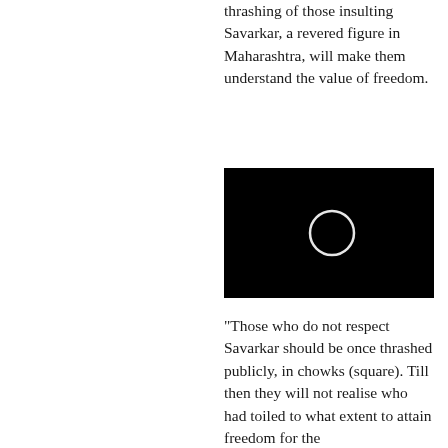thrashing of those insulting Savarkar, a revered figure in Maharashtra, will make them understand the value of freedom.
[Figure (photo): Black image with a white circle/ring shape in the center]
"Those who do not respect Savarkar should be once thrashed publicly, in chowks (square). Till then they will not realise who had toiled to what extent to attain freedom for the